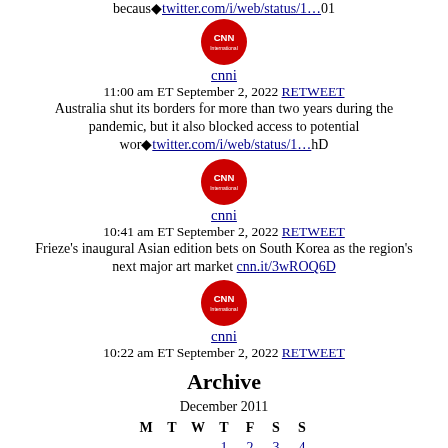becaus�twitter.com/i/web/status/1...01
[Figure (logo): CNN International circular red logo]
cnni
11:00 am ET September 2, 2022 RETWEET
Australia shut its borders for more than two years during the pandemic, but it also blocked access to potential wor�twitter.com/i/web/status/1...hD
[Figure (logo): CNN International circular red logo]
cnni
10:41 am ET September 2, 2022 RETWEET
Frieze's inaugural Asian edition bets on South Korea as the region's next major art market cnn.it/3wROQ6D
[Figure (logo): CNN International circular red logo]
cnni
10:22 am ET September 2, 2022 RETWEET
Archive
December 2011
| M | T | W | T | F | S | S |
| --- | --- | --- | --- | --- | --- | --- |
|  |  |  | 1 | 2 | 3 | 4 |
| 5 | 6 | 7 | 8 | 9 | 10 | 11 |
| 12 | 13 | 14 | 15 | 16 | 17 | 18 |
| 19 | 20 | 21 | 22 | 23 | 24 | 25 |